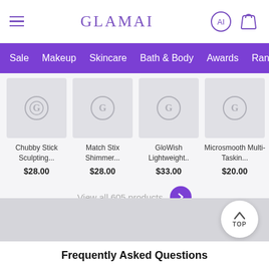GLAMAI
Sale  Makeup  Skincare  Bath & Body  Awards  Ranki
[Figure (screenshot): Four product cards with placeholder images: Chubby Stick Sculpting... $28.00, Match Stix Shimmer... $28.00, GloWish Lightweight.. $33.00, Microsmooth Multi-Taskin... $20.00]
View all 605 products →
Frequently Asked Questions